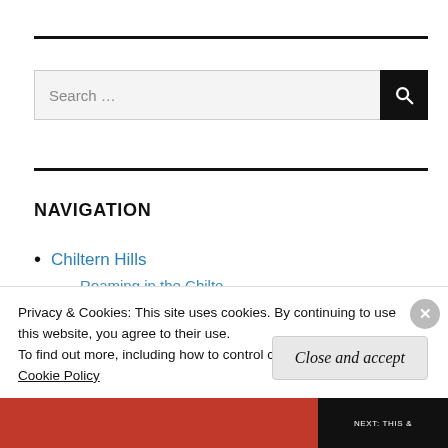[Figure (screenshot): Horizontal black rule dividing the top of the page]
[Figure (screenshot): Search bar with text input field showing 'Search ...' placeholder and a black button with a magnifying glass icon]
[Figure (screenshot): Second horizontal black rule below the search bar]
NAVIGATION
Chiltern Hills
Roaming in the Chilte...
Privacy & Cookies: This site uses cookies. By continuing to use this website, you agree to their use.
To find out more, including how to control cookies, see here:
Cookie Policy
Close and accept